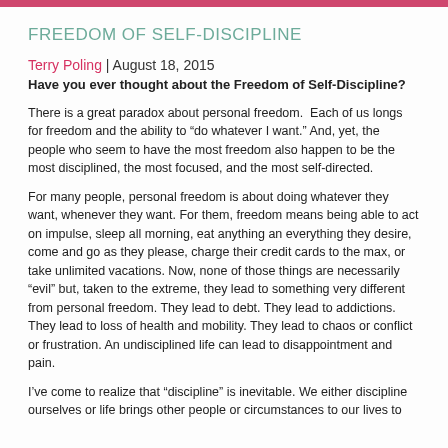FREEDOM OF SELF-DISCIPLINE
Terry Poling | August 18, 2015
Have you ever thought about the Freedom of Self-Discipline?
There is a great paradox about personal freedom.  Each of us longs for freedom and the ability to “do whatever I want.” And, yet, the people who seem to have the most freedom also happen to be the most disciplined, the most focused, and the most self-directed.
For many people, personal freedom is about doing whatever they want, whenever they want. For them, freedom means being able to act on impulse, sleep all morning, eat anything an everything they desire, come and go as they please, charge their credit cards to the max, or take unlimited vacations. Now, none of those things are necessarily “evil” but, taken to the extreme, they lead to something very different from personal freedom. They lead to debt. They lead to addictions. They lead to loss of health and mobility. They lead to chaos or conflict or frustration. An undisciplined life can lead to disappointment and pain.
I’ve come to realize that “discipline” is inevitable. We either discipline ourselves or life brings other people or circumstances to our lives to